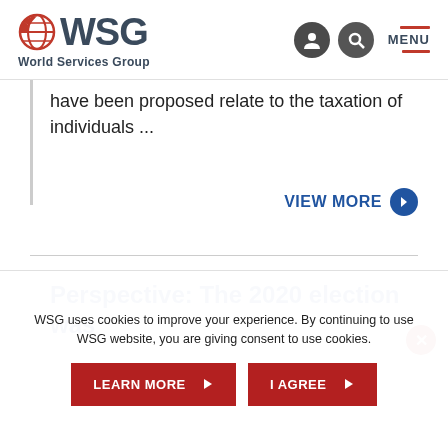[Figure (logo): WSG World Services Group logo with globe icon]
have been proposed relate to the taxation of individuals ...
VIEW MORE
Perspective: The 2020 election was
WSG uses cookies to improve your experience. By continuing to use WSG website, you are giving consent to use cookies.